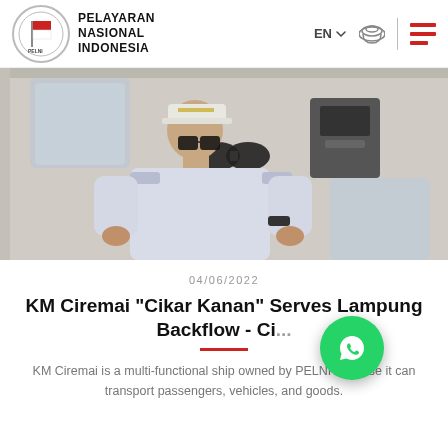PELAYARAN NASIONAL INDONESIA
[Figure (photo): A naval officer in white uniform using binoculars on a ship bridge]
04/06/2022
KM Ciremai "Cikar Kanan" Serves Lampung Backflow - Ci...
KM Ciremai is a multi-functional ship owned by PELNI because it can transport passengers, vehicles, and goods.